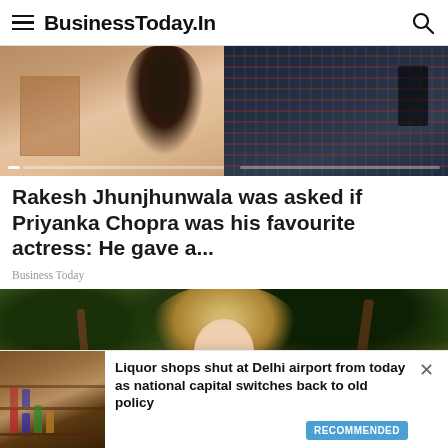BusinessToday.In
[Figure (photo): Two-panel hero image: left side shows a woman with dark hair and a brown card/book, right side shows plaid clothing on dark background]
Rakesh Jhunjhunwala was asked if Priyanka Chopra was his favourite actress: He gave a...
Business Today
[Figure (photo): A blonde woman standing outdoors near a Spanish-style building with arched entrance, trees in background]
Liquor shops shut at Delhi airport from today as national capital switches back to old policy